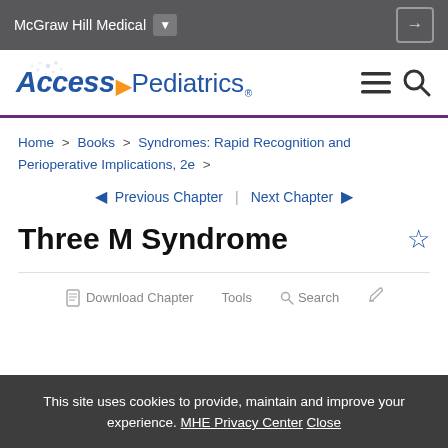McGraw Hill Medical
[Figure (logo): AccessPediatrics logo with blue italic ACCESS text, orange arrow, and blue Pediatrics text]
Home > Books > Syndromes: Rapid Recognition and Perioperative Implications, 2e >
◄ Previous Chapter | Next Chapter ►
Three M Syndrome
Download Chapter   Tools   Search
This site uses cookies to provide, maintain and improve your experience. MHE Privacy Center Close